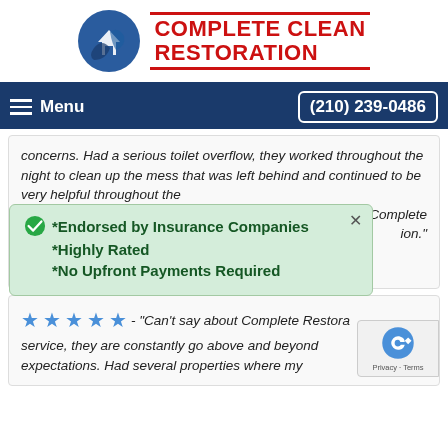[Figure (logo): Complete Clean Restoration company logo with circular blue icon of a house and the company name in red bold text]
Menu   (210) 239-0486
concerns. Had a serious toilet overflow, they worked throughout the night to clean up the mess that was left behind and continued to be very helpful throughout the
*Endorsed by Insurance Companies
*Highly Rated
*No Upfront Payments Required
d Complete ion."
Antonio, TX
★★★★★ - "Can't say about Complete Restora service, they are constantly go above and beyond expectations. Had several properties where my